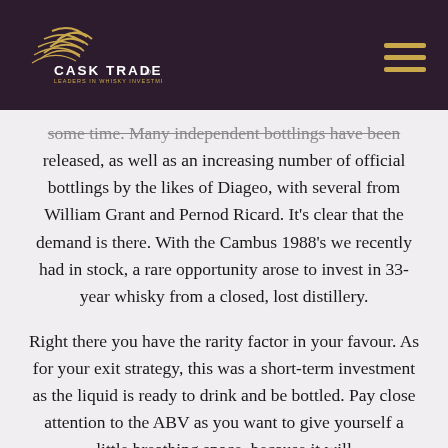[Figure (logo): Cask Trade logo with golden feather/wave graphic on dark purple background, with hamburger menu icon in gold on the right]
some time. Many independent bottlings have been released, as well as an increasing number of official bottlings by the likes of Diageo, with several from William Grant and Pernod Ricard. It's clear that the demand is there. With the Cambus 1988's we recently had in stock, a rare opportunity arose to invest in 33-year whisky from a closed, lost distillery.
Right there you have the rarity factor in your favour. As for your exit strategy, this was a short-term investment as the liquid is ready to drink and be bottled. Pay close attention to the ABV as you want to give yourself a little breathing space, because it will